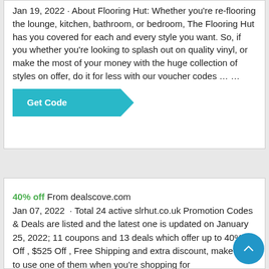Jan 19, 2022 · About Flooring Hut: Whether you're re-flooring the lounge, kitchen, bathroom, or bedroom, The Flooring Hut has you covered for each and every style you want. So, if you whether you're looking to splash out on quality vinyl, or make the most of your money with the huge collection of styles on offer, do it for less with our voucher codes … …
[Figure (other): Teal 'Get Code' button with folded corner effect showing partial text 'de']
40% off From dealscove.com
Jan 07, 2022 · Total 24 active slrhut.co.uk Promotion Codes & Deals are listed and the latest one is updated on January 25, 2022; 11 coupons and 13 deals which offer up to 40% Off , $525 Off , Free Shipping and extra discount, make sure to use one of them when you're shopping for